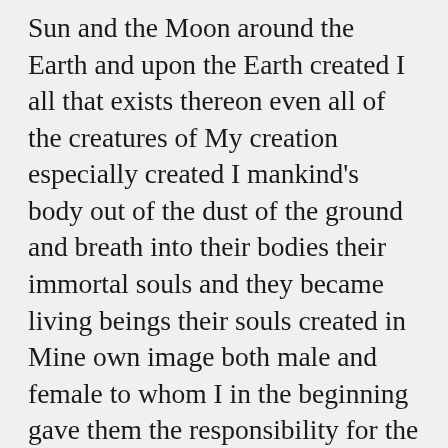Sun and the Moon around the Earth and upon the Earth created I all that exists thereon even all of the creatures of My creation especially created I mankind's body out of the dust of the ground and breath into their bodies their immortal souls and they became living beings their souls created in Mine own image both male and female to whom I in the beginning  gave them the responsibility for the care and protection of all the creatures of My creation that exist upon the face of the Earth and the environment created by the Word of My Mouth and also gave mankind in the